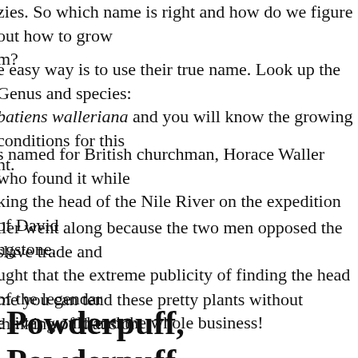zies. So which name is right and how do we figure out how to grow them?
e easy way is to use their true name. Look up the Genus and species: Impatiens walleriana and you will know the growing conditions for this plant.
s named for British churchman, Horace Waller who found it while king the head of the Nile River on the expedition of David ngstone.
ller went along because the two men opposed the slave trade and ught that the extreme publicity of finding the head of the legendary e river would end the whole business!
me you can tend these pretty plants without thinking of that story
Powderpuff, Powderpuff, Powderpuff